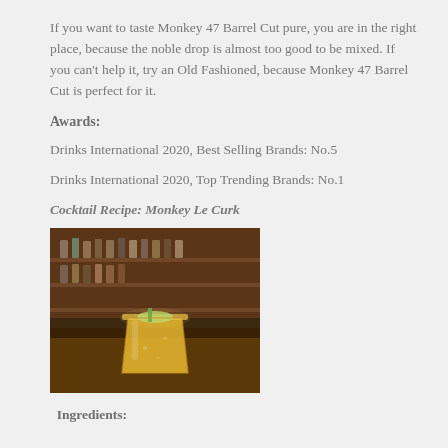If you want to taste Monkey 47 Barrel Cut pure, you are in the right place, because the noble drop is almost too good to be mixed. If you can't help it, try an Old Fashioned, because Monkey 47 Barrel Cut is perfect for it.
Awards:
Drinks International 2020, Best Selling Brands: No.5
Drinks International 2020, Top Trending Brands: No.1
Cocktail Recipe: Monkey Le Curk
[Figure (photo): A yellow cocktail drink in a glass on a wooden bar surface with a bar/restaurant interior in the background]
Ingredients: